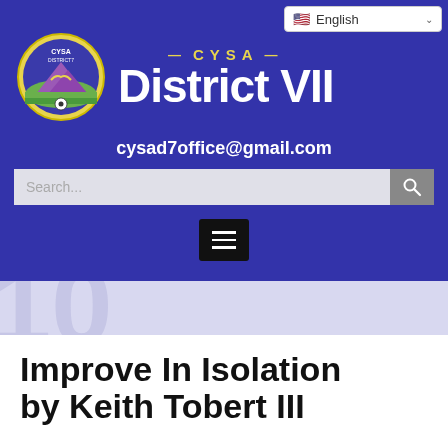[Figure (logo): CYSA District VII logo and header with email and navigation elements]
Improve In Isolation by Keith Tobert III